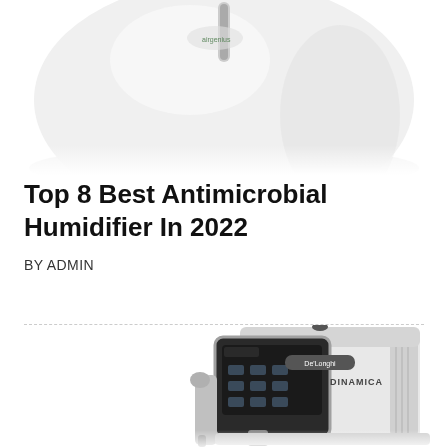[Figure (photo): Top portion of a white dome-shaped antimicrobial humidifier with a small logo on top, shown from above against a white background.]
Top 8 Best Antimicrobial Humidifier In 2022
BY ADMIN
[Figure (photo): De'Longhi Dinamica espresso machine in white and silver, showing the front panel with touchscreen controls, steam wand, and coffee spout, viewed at a slight angle.]